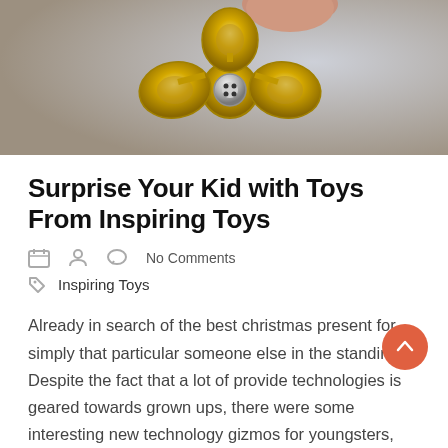[Figure (photo): Close-up photo of a gold metallic fidget spinner being held by fingers, against a light grey background]
Surprise Your Kid with Toys From Inspiring Toys
No Comments
Inspiring Toys
Already in search of the best christmas present for simply that particular someone else in the standing? Despite the fact that a lot of provide technologies is geared towards grown ups, there were some interesting new technology gizmos for youngsters,